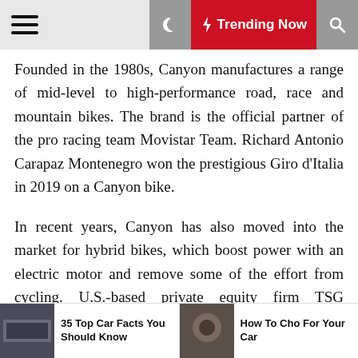☰  ☽  ⚡ Trending Now  🔍
Founded in the 1980s, Canyon manufactures a range of mid-level to high-performance road, race and mountain bikes. The brand is the official partner of the pro racing team Movistar Team. Richard Antonio Carapaz Montenegro won the prestigious Giro d'Italia in 2019 on a Canyon bike.
In recent years, Canyon has also moved into the market for hybrid bikes, which boost power with an electric motor and remove some of the effort from cycling. U.S.-based private equity firm TSG Consumer Partners bought a significant minority stake in Canyon in 2016.
For more articles like this, please visit us at bloomberg.com
©2020 Bloomberg L.P.
35 Top Car Facts You Should Know | How To Cho For Your Car